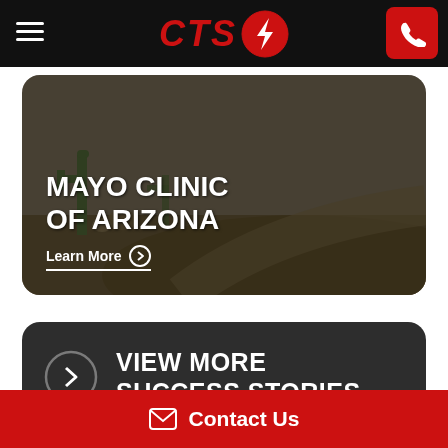CTS [logo with lightning bolt]
[Figure (photo): Mayo Clinic of Arizona promotional card with desert landscape background showing cacti and pathway, overlaid with white text 'MAYO CLINIC OF ARIZONA' and a 'Learn More' link with arrow circle icon]
VIEW MORE SUCCESS STORIES
Contact Us